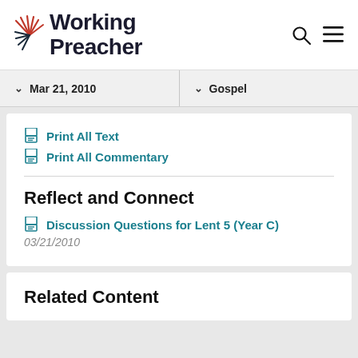[Figure (logo): Working Preacher logo with sunburst graphic on the left and text 'Working Preacher' on the right, plus search and menu icons]
Mar 21, 2010
Gospel
Print All Text
Print All Commentary
Reflect and Connect
Discussion Questions for Lent 5 (Year C)
03/21/2010
Related Content